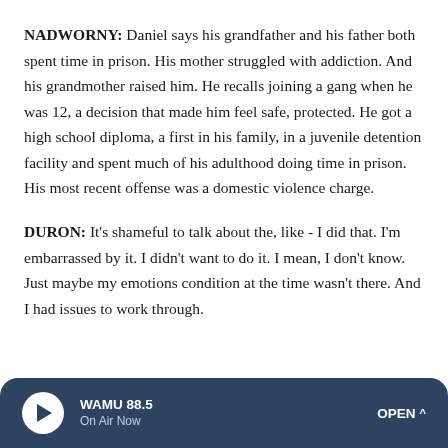NADWORNY: Daniel says his grandfather and his father both spent time in prison. His mother struggled with addiction. And his grandmother raised him. He recalls joining a gang when he was 12, a decision that made him feel safe, protected. He got a high school diploma, a first in his family, in a juvenile detention facility and spent much of his adulthood doing time in prison. His most recent offense was a domestic violence charge.
DURON: It's shameful to talk about the, like - I did that. I'm embarrassed by it. I didn't want to do it. I mean, I don't know. Just maybe my emotions condition at the time wasn't there. And I had issues to work through.
WAMU 88.5 On Air Now OPEN